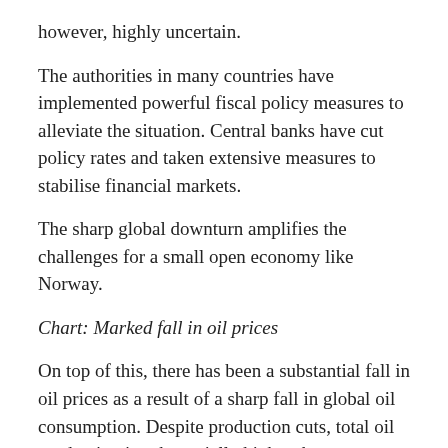however, highly uncertain.
The authorities in many countries have implemented powerful fiscal policy measures to alleviate the situation. Central banks have cut policy rates and taken extensive measures to stabilise financial markets.
The sharp global downturn amplifies the challenges for a small open economy like Norway.
Chart: Marked fall in oil prices
On top of this, there has been a substantial fall in oil prices as a result of a sharp fall in global oil consumption. Despite production cuts, total oil production is substantially higher than consumption,